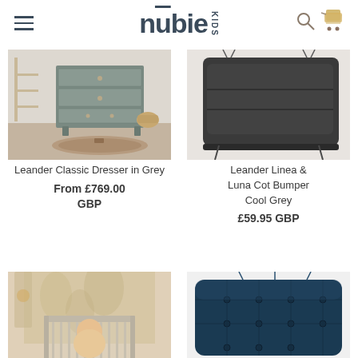nubie KIDS — hamburger menu, search icon, cart icon
[Figure (photo): Leander Classic Dresser in Grey — a grey chest of drawers in a nursery room setting]
[Figure (photo): Leander Linea & Luna Cot Bumper Cool Grey — dark grey folded cot bumper]
Leander Classic Dresser in Grey
From £769.00 GBP
Leander Linea & Luna Cot Bumper Cool Grey
£59.95 GBP
[Figure (photo): Baby in a round cot in a decorated nursery room]
[Figure (photo): Dark navy blue quilted cot bumper or baby nest]